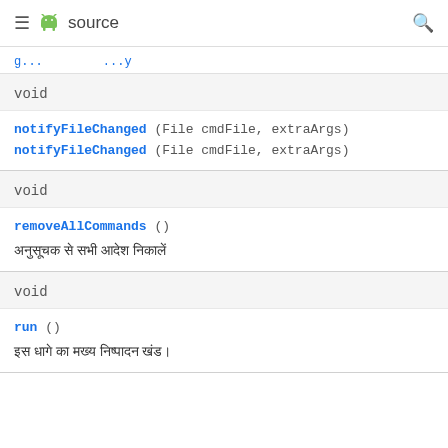≡ android source 🔍
void
notifyFileChanged (File cmdFile, extraArgs)
notifyFileChanged (File cmdFile, extraArgs)
void
removeAllCommands ()
अनुसूचक से सभी आदेश निकालें
void
run ()
इस धागे का मख्य निष्पादन खंड।